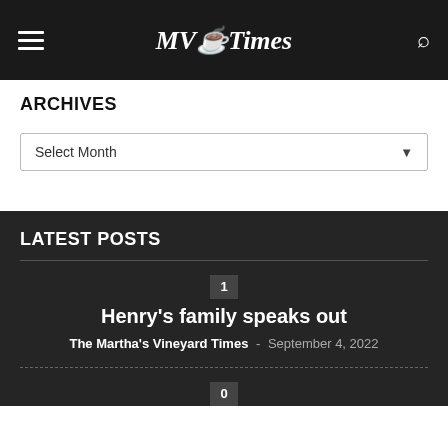MV Times
ARCHIVES
Select Month
LATEST POSTS
1
Henry's family speaks out
The Martha's Vineyard Times - September 4, 2022
0